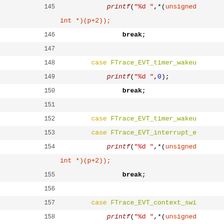[Figure (screenshot): Source code viewer showing C code lines 145-162, with line numbers, author annotations, and syntax highlighting. Code shows switch-case statements with printf calls using FTrace_EVT event types.]